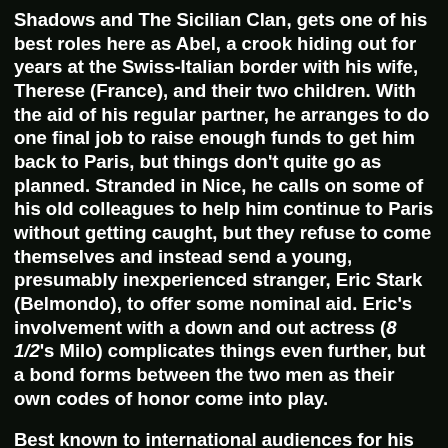Shadows and The Sicilian Clan, gets one of his best roles here as Abel, a crook hiding out for years at the Swiss-Italian border with his wife, Therese (France), and their two children. With the aid of his regular partner, he arranges to do one final job to raise enough funds to get him back to Paris, but things don't quite go as planned. Stranded in Nice, he calls on some of his old colleagues to help him continue to Paris without getting caught, but they refuse to come themselves and instead send a young, presumably inexperienced stranger, Eric Stark (Belmondo), to offer some nominal aid. Eric's involvement with a down and out actress (8 1/2's Milo) complicates things even further, but a bond forms between the two men as their own codes of honor come into play.
Best known to international audiences for his '90s films like Un coeur en hiver and Nelly & Monsieur Arnaud, director Claude Sautet was still a newcomer when he made this, only his second feature film (though he had also worked as the screenwriter for the classic Eyes without a Face). He was handed an astonishing number of big guns for this film, particularly the soulful